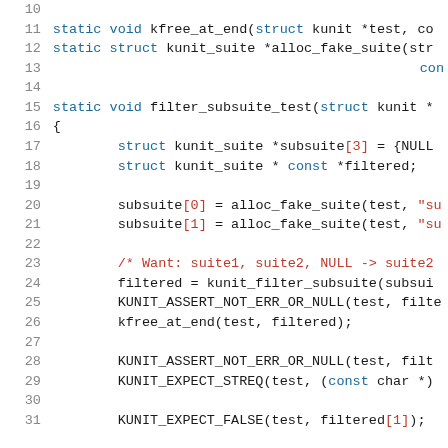[Figure (screenshot): Source code listing in C, lines 10-31, showing kunit test functions including filter_subsuite_test with struct declarations, alloc_fake_suite calls, kunit_filter_subsuite call, and KUNIT_ASSERT/EXPECT macros. Syntax highlighted with blue keywords, red strings/comments, black identifiers.]